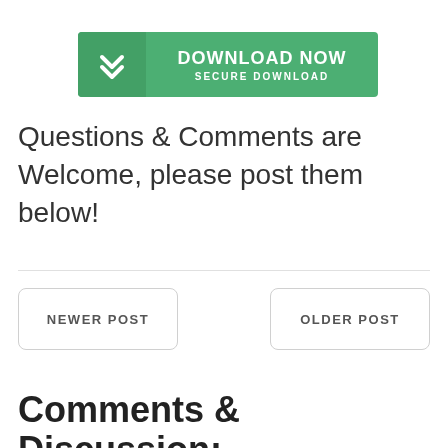[Figure (other): Green download button with checkmark icon, text DOWNLOAD NOW and SECURE DOWNLOAD]
Questions & Comments are Welcome, please post them below!
Comments & Discussion: